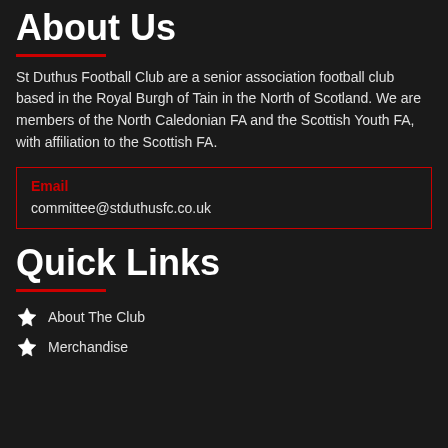About Us
St Duthus Football Club are a senior association football club based in the Royal Burgh of Tain in the North of Scotland. We are members of the North Caledonian FA and the Scottish Youth FA, with affiliation to the Scottish FA.
| Email |
| --- |
| committee@stduthusfc.co.uk |
Quick Links
About The Club
Merchandise